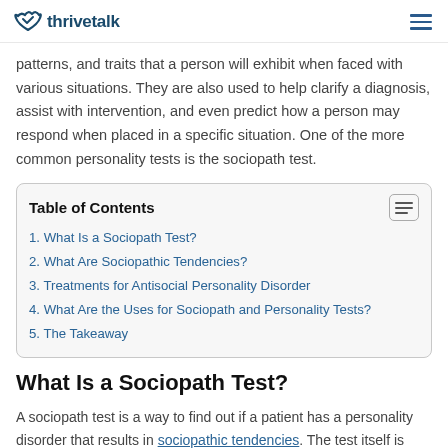thrivetalk
patterns, and traits that a person will exhibit when faced with various situations. They are also used to help clarify a diagnosis, assist with intervention, and even predict how a person may respond when placed in a specific situation. One of the more common personality tests is the sociopath test.
| Table of Contents |
| --- |
| 1. What Is a Sociopath Test? |
| 2. What Are Sociopathic Tendencies? |
| 3. Treatments for Antisocial Personality Disorder |
| 4. What Are the Uses for Sociopath and Personality Tests? |
| 5. The Takeaway |
What Is a Sociopath Test?
A sociopath test is a way to find out if a patient has a personality disorder that results in sociopathic tendencies. The test itself is